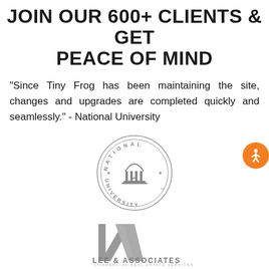JOIN OUR 600+ CLIENTS & GET PEACE OF MIND
“Since Tiny Frog has been maintaining the site, changes and upgrades are completed quickly and seamlessly.” - National University
[Figure (logo): National University circular seal logo in gray]
[Figure (logo): Lee & Associates Commercial Real Estate Services logo in gray]
[Figure (logo): Boeing logo in gray]